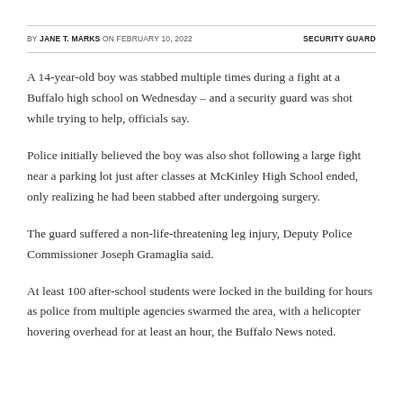BY JANE T. MARKS ON FEBRUARY 10, 2022    SECURITY GUARD
A 14-year-old boy was stabbed multiple times during a fight at a Buffalo high school on Wednesday – and a security guard was shot while trying to help, officials say.
Police initially believed the boy was also shot following a large fight near a parking lot just after classes at McKinley High School ended, only realizing he had been stabbed after undergoing surgery.
The guard suffered a non-life-threatening leg injury, Deputy Police Commissioner Joseph Gramaglia said.
At least 100 after-school students were locked in the building for hours as police from multiple agencies swarmed the area, with a helicopter hovering overhead for at least an hour, the Buffalo News noted.